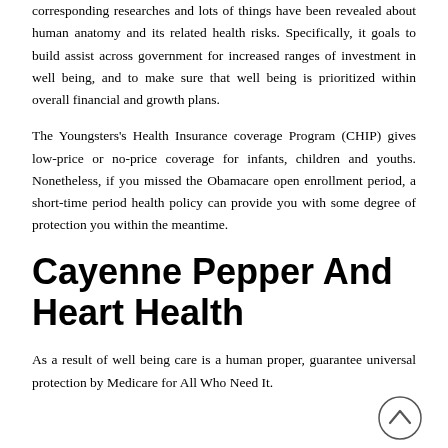corresponding researches and lots of things have been revealed about human anatomy and its related health risks. Specifically, it goals to build assist across government for increased ranges of investment in well being, and to make sure that well being is prioritized within overall financial and growth plans.
The Youngsters's Health Insurance coverage Program (CHIP) gives low-price or no-price coverage for infants, children and youths. Nonetheless, if you missed the Obamacare open enrollment period, a short-time period health policy can provide you with some degree of protection you within the meantime.
Cayenne Pepper And Heart Health
As a result of well being care is a human proper, guarantee universal protection by Medicare for All Who Need It.